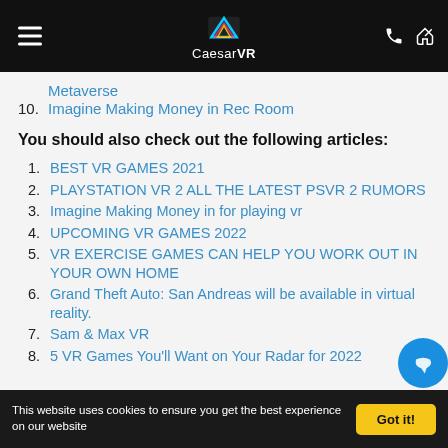CaesarVR
Metaverse
10. Imagine Making Money in Rec Room
You should also check out the following articles:
1. BEST VR GAMES 2021
2. PLAYSTATION VR 2 ALL THE LATEST PSVR 2 RUMORS
3. Imagine Making Money in for playing vr
4. UPCOMING VR GAMES 2022
5. VR EXERCISE GAMES CAN HELP YOU WORK OUT IN YOUR OWN HOME
6. Grand Theft Auto: San Andreas will be available in virtual reality.
7. Sam & Max VR
8. 5 VR Games You'll Want on Your Radar for 2022
This website uses cookies to ensure you get the best experience on our website  Got it!